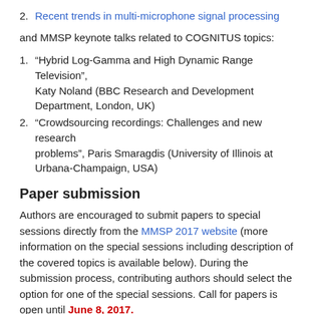2. Recent trends in multi-microphone signal processing
and MMSP keynote talks related to COGNITUS topics:
1. “Hybrid Log-Gamma and High Dynamic Range Television”, Katy Noland (BBC Research and Development Department, London, UK)
2. “Crowdsourcing recordings: Challenges and new research problems”, Paris Smaragdis (University of Illinois at Urbana-Champaign, USA)
Paper submission
Authors are encouraged to submit papers to special sessions directly from the MMSP 2017 website (more information on the special sessions including description of the covered topics is available below). During the submission process, contributing authors should select the option for one of the special sessions. Call for papers is open until June 8, 2017.